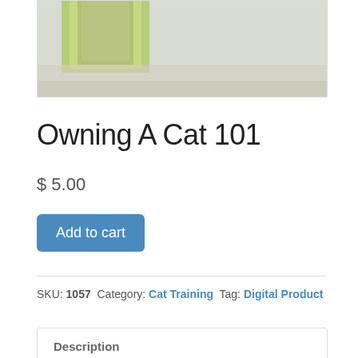[Figure (photo): Product image showing a book cover with green and yellow colors, partially cropped at the top]
Owning A Cat 101
$ 5.00
Add to cart
SKU: 1057  Category: Cat Training  Tag: Digital Product
Description